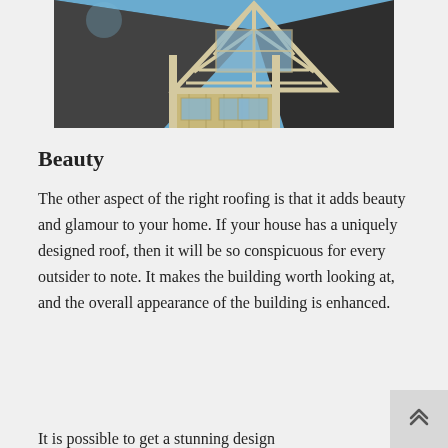[Figure (photo): Photograph of a house under construction showing wooden roof framing/gable structure against a blue sky, with dark shingled rooflines on either side.]
Beauty
The other aspect of the right roofing is that it adds beauty and glamour to your home. If your house has a uniquely designed roof, then it will be so conspicuous for every outsider to note. It makes the building worth looking at, and the overall appearance of the building is enhanced.
It is possible to get a stunning design...